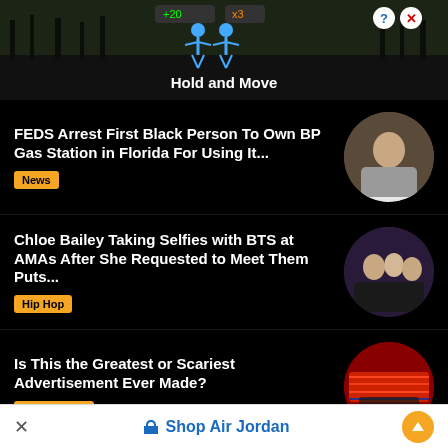[Figure (screenshot): Advertisement banner showing 'Hold and Move' game with two blue figure icons on dark background with trees]
FEDS Arrest First Black Person To Own BP Gas Station in Florida For Using It...
News
Chloe Bailey Taking Selfies with BTS at AMAs After She Requested to Meet Them Puts...
Hip Hop
Is This the Greatest or Scariest Advertisement Ever Made?
Urban News
Was Lil Baby Caught with Saweetie? Social Media Reacts to Evidence Possibly Confirming Lil Baby
Shop Air Jordan